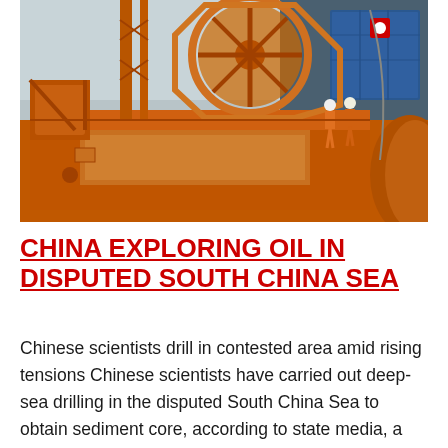[Figure (photo): Orange heavy drilling equipment and machinery on a ship deck. Large orange mechanical frame structure with circular wheel/reel component in the background. Workers in hard hats and orange safety gear visible in the background on the right. Blue shipping containers visible on right side.]
CHINA EXPLORING OIL IN DISPUTED SOUTH CHINA SEA
Chinese scientists drill in contested area amid rising tensions Chinese scientists have carried out deep-sea drilling in the disputed South China Sea to obtain sediment core, according to state media, a move that is